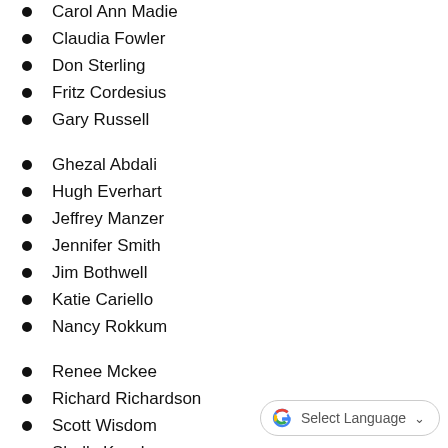Carol Ann Madie
Claudia Fowler
Don Sterling
Fritz Cordesius
Gary Russell
Ghezal Abdali
Hugh Everhart
Jeffrey Manzer
Jennifer Smith
Jim Bothwell
Katie Cariello
Nancy Rokkum
Renee Mckee
Richard Richardson
Scott Wisdom
Shelly Kossler